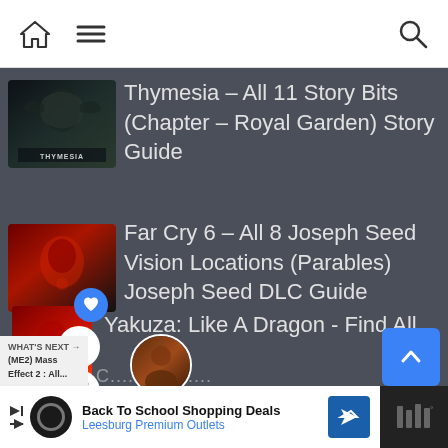Navigation bar with home, menu, and search icons
[Figure (screenshot): Thumbnail image for Thymesia article — dark fantasy game cover]
Thymesia – All 11 Story Bits (Chapter – Royal Garden) Story Guide
[Figure (screenshot): Thumbnail image for Far Cry 6 article — red-toned game cover]
Far Cry 6 – All 8 Joseph Seed Vision Locations (Parables) Joseph Seed DLC Guide
[Figure (screenshot): Partial thumbnail for Yakuza article]
Yakuza: Like A Dragon - Find All
WHAT'S NEXT → (ME2) Mass Effect 2 : All...
[Figure (photo): Round avatar image for What's Next promo]
Back To School Shopping Deals — Leesburg Premium Outlets